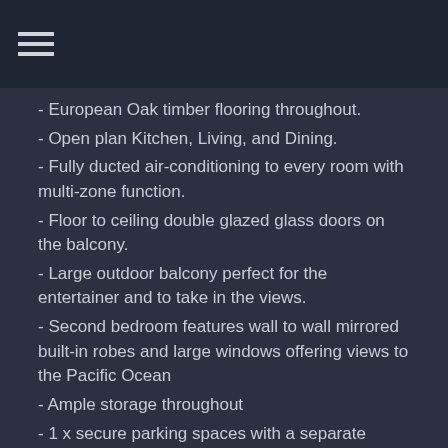- European Oak timber flooring throughout.
- Open plan Kitchen, Living, and Dining.
- Fully ducted air-conditioning to every room with multi-zone function.
- Floor to ceiling double glazed glass doors on the balcony.
- Large outdoor balcony perfect for the entertainer and to take in the views.
- Second bedroom features wall to wall mirrored built-in robes and large windows offering views to the Pacific Ocean
- Ample storage throughout
- 1 x secure parking spaces with a separate private lockup cage for storage.
- Pet-friendly (subject to Body Corporate approval)